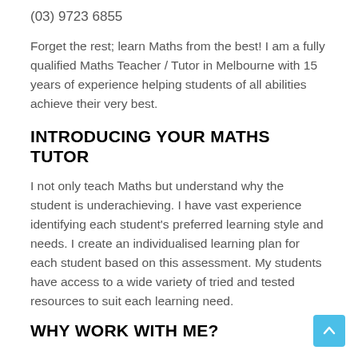(03) 9723 6855
Forget the rest; learn Maths from the best! I am a fully qualified Maths Teacher / Tutor in Melbourne with 15 years of experience helping students of all abilities achieve their very best.
INTRODUCING YOUR MATHS TUTOR
I not only teach Maths but understand why the student is underachieving. I have vast experience identifying each student's preferred learning style and needs. I create an individualised learning plan for each student based on this assessment. My students have access to a wide variety of tried and tested resources to suit each learning need.
WHY WORK WITH ME?